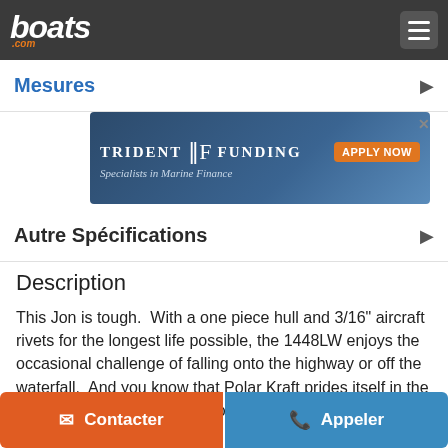boats.com
Mesures
[Figure (screenshot): Trident Funding advertisement banner — Specialists in Marine Finance, APPLY NOW button, boat image in background]
Autre Spécifications
Description
This Jon is tough.  With a one piece hull and 3/16" aircraft rivets for the longest life possible, the 1448LW enjoys the occasional challenge of falling onto the highway or off the waterfall.  And you know that Polar Kraft prides itself in the top-of-the-line quality, attention to detail, and passion that goes into every Jon boat.
Montre Plus...
Contacter   Appeler